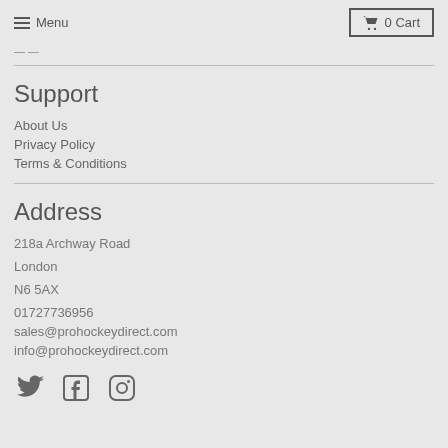Menu  0 Cart
Support
About Us
Privacy Policy
Terms & Conditions
Address
218a Archway Road
London
N6 5AX
01727736956
sales@prohockeydirect.com
info@prohockeydirect.com
[Figure (illustration): Social media icons: Twitter, Facebook, Instagram]